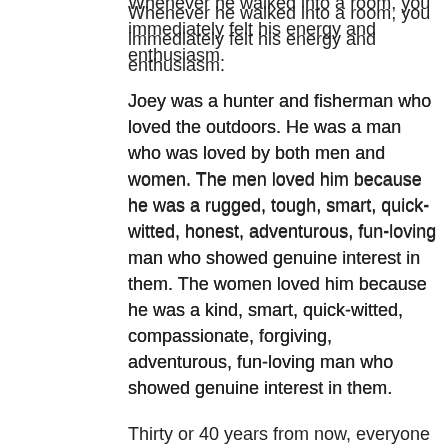Whenever he walked into a room, you immediately felt his energy and enthusiasm.
Joey was a hunter and fisherman who loved the outdoors. He was a man who was loved by both men and women. The men loved him because he was a rugged, tough, smart, quick-witted, honest, adventurous, fun-loving man who showed genuine interest in them. The women loved him because he was a kind, smart, quick-witted, compassionate, forgiving, adventurous, fun-loving man who showed genuine interest in them.
Thirty or 40 years from now, everyone who was fortunate enough to get to know Joey on a personal level will still long for his presence — if only for the experience of one more conversation with him.
At the end of Joey's funeral Mass at Saint Mark's Catholic Church in Peoria, my youngest sister, Liz, stood up before the congregation and read a eulogy that had been written by Mary Kay.
A few days after the funeral, I called Mary Kay and asked her whether she would mind if I published her eulogy in my weekly Adoration Letter. I told her that I wanted to